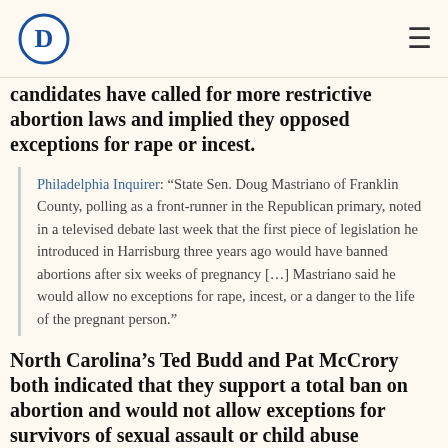Democratic Party logo and navigation
candidates have called for more restrictive abortion laws and implied they opposed exceptions for rape or incest.
Philadelphia Inquirer: “State Sen. Doug Mastriano of Franklin County, polling as a front-runner in the Republican primary, noted in a televised debate last week that the first piece of legislation he introduced in Harrisburg three years ago would have banned abortions after six weeks of pregnancy […] Mastriano said he would allow no exceptions for rape, incest, or a danger to the life of the pregnant person.”
North Carolina’s Ted Budd and Pat McCrory both indicated that they support a total ban on abortion and would not allow exceptions for survivors of sexual assault or child abuse